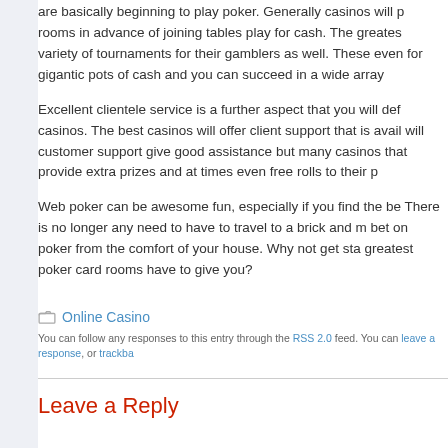are basically beginning to play poker. Generally casinos will p rooms in advance of joining tables play for cash. The greates variety of tournaments for their gamblers as well. These even for gigantic pots of cash and you can succeed in a wide array
Excellent clientele service is a further aspect that you will def casinos. The best casinos will offer client support that is avail will customer support give good assistance but many casinos that provide extra prizes and at times even free rolls to their p
Web poker can be awesome fun, especially if you find the be There is no longer any need to have to travel to a brick and m bet on poker from the comfort of your house. Why not get sta greatest poker card rooms have to give you?
Online Casino
You can follow any responses to this entry through the RSS 2.0 feed. You can leave a response, or trackba
Leave a Reply